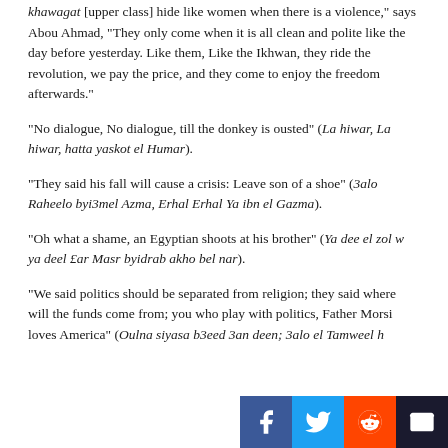khawagat [upper class] hide like women when there is a violence," says Abou Ahmad, "They only come when it is all clean and polite like the day before yesterday. Like them, Like the Ikhwan, they ride the revolution, we pay the price, and they come to enjoy the freedom afterwards."
"No dialogue, No dialogue, till the donkey is ousted" (La hiwar, La hiwar, hatta yaskot el Humar).
"They said his fall will cause a crisis: Leave son of a shoe" (3alo Raheelo byi3mel Azma, Erhal Erhal Ya ibn el Gazma).
"Oh what a shame, an Egyptian shoots at his brother" (Ya dee el zol w ya deel £ar Masr byidrab akho bel nar).
"We said politics should be separated from religion; they said where will the funds come from; you who play with politics, Father Morsi loves America" (Oulna siyasa b3eed 3an deen; 3alo el Tamweel h ee i ll